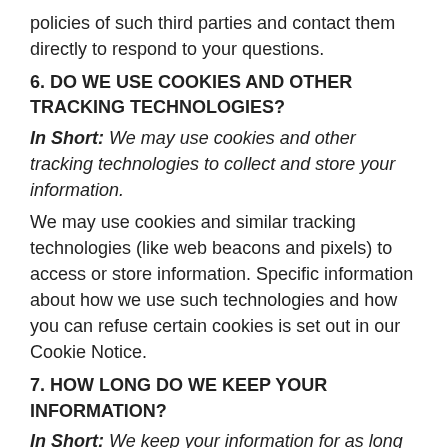policies of such third parties and contact them directly to respond to your questions.
6. DO WE USE COOKIES AND OTHER TRACKING TECHNOLOGIES?
In Short: We may use cookies and other tracking technologies to collect and store your information.
We may use cookies and similar tracking technologies (like web beacons and pixels) to access or store information. Specific information about how we use such technologies and how you can refuse certain cookies is set out in our Cookie Notice.
7. HOW LONG DO WE KEEP YOUR INFORMATION?
In Short: We keep your information for as long as necessary to fulfill the purposes outlined in this privacy notice unless otherwise required by law.
We will only keep your personal information for as long as it is necessary for the purposes set out in this privacy notice, unless a longer retention period is required or permitted by law (such as tax, accounting, or other legal requirements). No